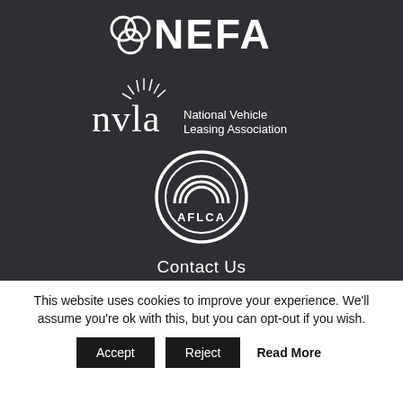[Figure (logo): NEFA logo - white text on dark background with circular chain-link icon]
[Figure (logo): nvla - National Vehicle Leasing Association logo with radial lines above letters]
[Figure (logo): AFLCA circular logo with rainbow arc and letters inside on dark background]
Contact Us
Madison Capital
11433 Cronridge Drive, Suite F
Owings Mills, MD 21117-2294
This website uses cookies to improve your experience. We'll assume you're ok with this, but you can opt-out if you wish.